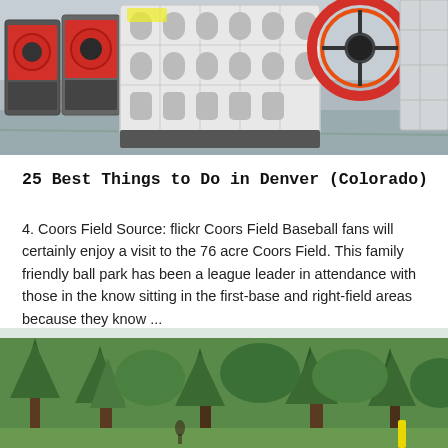[Figure (photo): Industrial machinery — large white and red jaw crushers lined up in a factory/warehouse setting with a green concrete floor.]
25 Best Things to Do in Denver (Colorado)
4. Coors Field Source: flickr Coors Field Baseball fans will certainly enjoy a visit to the 76 acre Coors Field. This family friendly ball park has been a league leader in attendance with those in the know sitting in the first-base and right-field areas because they know ...
[Figure (photo): Outdoor scene with tall green pine and deciduous trees against a white sky, with a yellow post visible in the lower right area.]